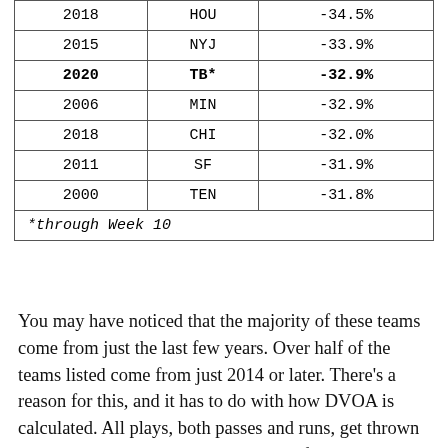| Year | Team | DVOA |
| --- | --- | --- |
| 2018 | HOU | -34.5% |
| 2015 | NYJ | -33.9% |
| 2020 | TB* | -32.9% |
| 2006 | MIN | -32.9% |
| 2018 | CHI | -32.0% |
| 2011 | SF | -31.9% |
| 2000 | TEN | -31.8% |
| *through Week 10 |  |  |
You may have noticed that the majority of these teams come from just the last few years. Over half of the teams listed come from just 2014 or later. There's a reason for this, and it has to do with how DVOA is calculated. All plays, both passes and runs, get thrown into team DVOA. The league average for all plays is set to 0% every year. However,